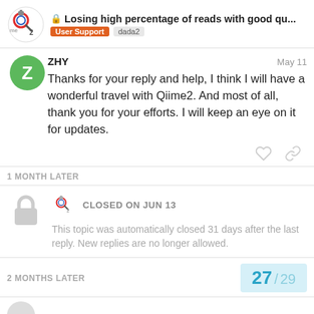Losing high percentage of reads with good qu... | User Support | dada2
ZHY
May 11
Thanks for your reply and help, I think I will have a wonderful travel with Qiime2. And most of all, thank you for your efforts. I will keep an eye on it for updates.
1 MONTH LATER
CLOSED ON JUN 13
This topic was automatically closed 31 days after the last reply. New replies are no longer allowed.
2 MONTHS LATER